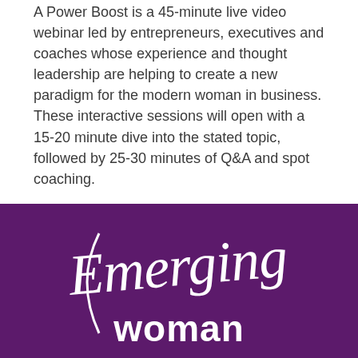A Power Boost is a 45-minute live video webinar led by entrepreneurs, executives and coaches whose experience and thought leadership are helping to create a new paradigm for the modern woman in business. These interactive sessions will open with a 15-20 minute dive into the stated topic, followed by 25-30 minutes of Q&A and spot coaching.
Questions about this event? Ask us.
[Figure (logo): Emerging Woman logo — white script and bold text on purple background]